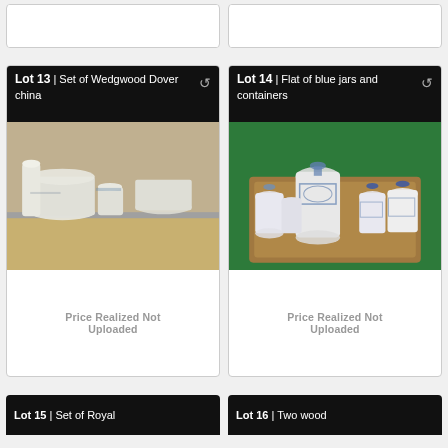[Figure (photo): Partial view of top lot cards (Lot 11 and Lot 12) visible at the top of the page, cut off]
Lot 13 | Set of Wedgwood Dover china
[Figure (photo): Photo of a set of Wedgwood Dover china dishes, cups, and plates stacked on a shelf]
Price Realized Not Uploaded
Lot 14 | Flat of blue jars and containers
[Figure (photo): Photo of a flat of blue and white ceramic jars and containers on a green surface in a cardboard tray]
Price Realized Not Uploaded
Lot 15 | Set of Royal
Lot 16 | Two wood